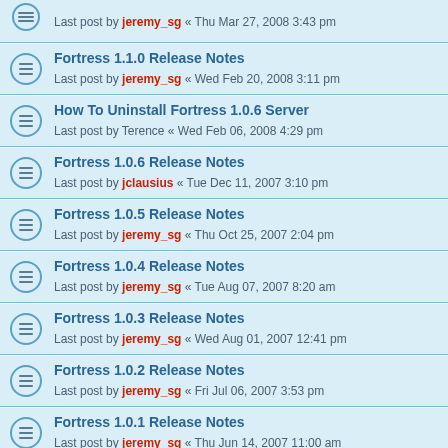Last post by jeremy_sg « Thu Mar 27, 2008 3:43 pm
Fortress 1.1.0 Release Notes
Last post by jeremy_sg « Wed Feb 20, 2008 3:11 pm
How To Uninstall Fortress 1.0.6 Server
Last post by Terence « Wed Feb 06, 2008 4:29 pm
Fortress 1.0.6 Release Notes
Last post by jclausius « Tue Dec 11, 2007 3:10 pm
Fortress 1.0.5 Release Notes
Last post by jeremy_sg « Thu Oct 25, 2007 2:04 pm
Fortress 1.0.4 Release Notes
Last post by jeremy_sg « Tue Aug 07, 2007 8:20 am
Fortress 1.0.3 Release Notes
Last post by jeremy_sg « Wed Aug 01, 2007 12:41 pm
Fortress 1.0.2 Release Notes
Last post by jeremy_sg « Fri Jul 06, 2007 3:53 pm
Fortress 1.0.1 Release Notes
Last post by jeremy_sg « Thu Jun 14, 2007 11:00 am
Fortress 1.0.0 Release Notes
Last post by jeremy_sg « Thu Jun 14, 2007 10:59 am
Welcome to the Sourcegear Fortress Preview
Last post by jeremy_sg « Tue Mar 20, 2007 9:05 am